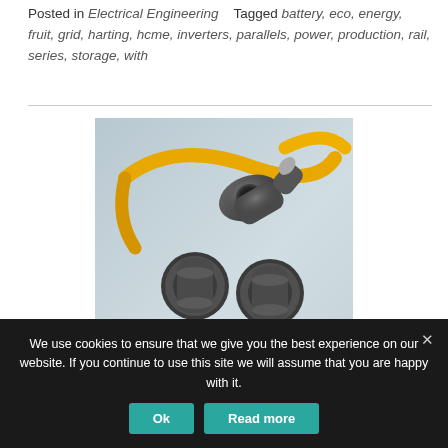Posted in Electrical Engineering   Tagged battery, eco, energy, fruit, grid, harting, hcme, inverters, parallels, power, production, rail, series, storage, with
[Figure (photo): Three dark grey industrial electrical connectors with yellow cables against a light grey background. The connectors appear to be HARTING power connectors.]
We use cookies to ensure that we give you the best experience on our website. If you continue to use this site we will assume that you are happy with it.